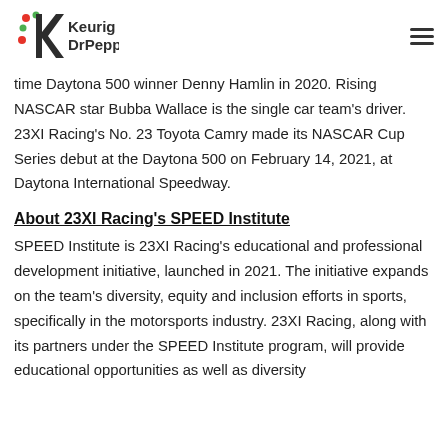Keurig Dr Pepper [logo] [menu icon]
time Daytona 500 winner Denny Hamlin in 2020. Rising NASCAR star Bubba Wallace is the single car team's driver. 23XI Racing's No. 23 Toyota Camry made its NASCAR Cup Series debut at the Daytona 500 on February 14, 2021, at Daytona International Speedway.
About 23XI Racing's SPEED Institute
SPEED Institute is 23XI Racing's educational and professional development initiative, launched in 2021. The initiative expands on the team's diversity, equity and inclusion efforts in sports, specifically in the motorsports industry. 23XI Racing, along with its partners under the SPEED Institute program, will provide educational opportunities as well as diversity